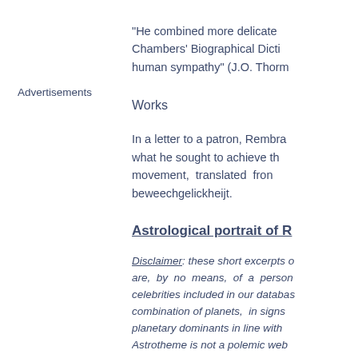Advertisements
"He combined more delicate... Chambers' Biographical Dicti... human sympathy" (J.O. Thorm...
Works
In a letter to a patron, Rembra... what he sought to achieve th... movement, translated fron beweechgelickheijt.
Astrological portrait of R...
Disclaimer: these short excerpts o... are, by no means, of a person... celebrities included in our databas... combination of planets, in signs... planetary dominants in line with... Astrotheme is not a polemic web... good reputation of a celebrity... astrological portrait.